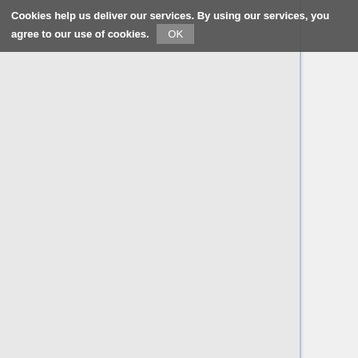Cookies help us deliver our services. By using our services, you agree to our use of cookies. OK
□□□□□ (Map 3D Model)
□□□ □□□ (Rokumendo Co., Ltd.)
□□□□ (Daisuke Asai)
□□□□ (Natsuki Katō)
□□ □ (Hikaru Sameshima)
□□□□ (Shunsuke Tsujimura)
□□□□ (Naoto Yoshinari) □□□□□ (
□□□□□□□□ □□□□ (Hunex Co., Ltd.)
□□□□ □□□□ (Winds Co., Ltd.)
□□□□ (Sound)
□□□□ □□□□□□□□□□□ (Procyon Studi
□□□□□□□□□□□ (Sound Programmer)
□□□□ (Hidenori Suzuki)
□□□□□□□□□□□□□□ (Synthesizer Ope
□□□□ (Hideaki Kuroda) □□□□ (J
□□□□□□□□ (Sound Support)
□□□□ (Asami Ashino)
□□□□ (Yoshie Miyajima)
□□□□□□ (Planning)